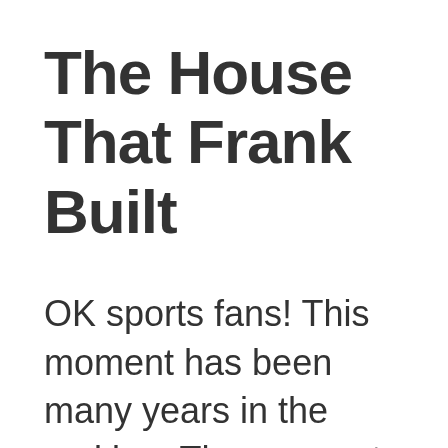The House That Frank Built
OK sports fans! This moment has been many years in the making. The moment when I, and only I, will bust out the structure of our house with the intention of EXPANDING our living space and making a fantastic en-suite (master